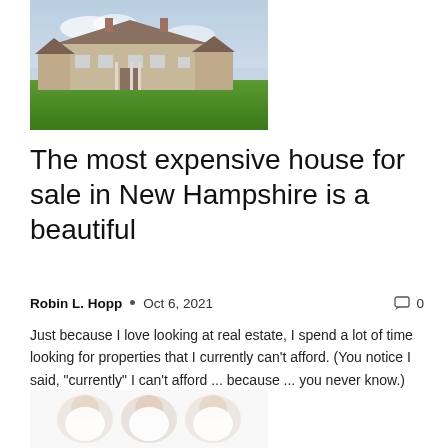[Figure (photo): Exterior photo of a large house/mansion with a wide green lawn, brick chimneys, and a cloudy sky in the background.]
The most expensive house for sale in New Hampshire is a beautiful
Robin L. Hopp  •  Oct 6, 2021   💬 0
Just because I love looking at real estate, I spend a lot of time looking for properties that I currently can't afford. (You notice I said, "currently" I can't afford ... because ... you never know.) Today I came across this area quite...
[Figure (photo): Photo of three babies lying on a white background dressed in white onesies.]